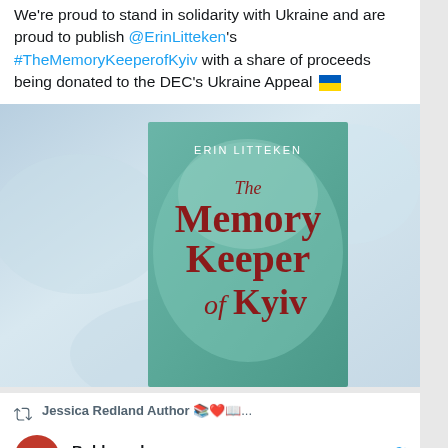We're proud to stand in solidarity with Ukraine and are proud to publish @ErinLitteken's #TheMemoryKeeperofKyiv with a share of proceeds being donated to the DEC's Ukraine Appeal 🇺🇦
[Figure (photo): Book cover of 'The Memory Keeper of Kyiv' by Erin Litteken, showing the title in red script on a teal/green background]
1 reply, 16 likes
Jessica Redland Author 📚❤️📖... retweeted
Boldwood... @... · Aug 24